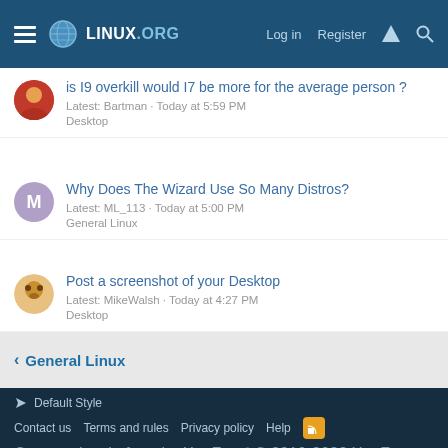LINUX.ORG — Log in · Register
is I9 overkill would I7 be more for the average person ? · Latest: Bartman · Today at 5:59 PM · Desktop
Why Does The Wizard Use So Many Distros? · Latest: ML_113 · Today at 5:00 PM · General Linux
Post a screenshot of your Desktop · Latest: MikeWalsh · Today at 4:27 PM · Desktop
General Linux
Default Style · Contact us · Terms and rules · Privacy policy · Help · Community platform by XenForo® © 2010-2022 XenForo Ltd. Parts of this site powered by XenForo add-ons from DragonByte™ ©2011-2022 DragonByte Technologies Ltd. (Details)